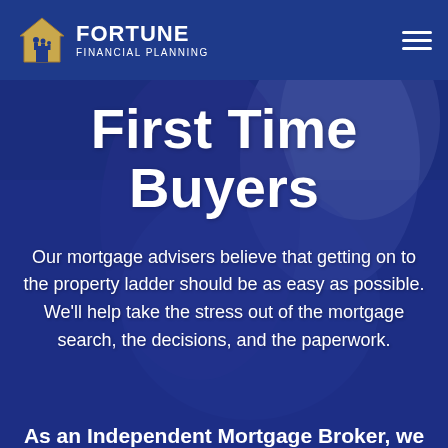[Figure (logo): Fortune Financial Planning logo with house icon containing family silhouette in gold/blue, company name in white on navy background]
[Figure (photo): Background photo of a smiling couple, man and woman, with a blue/purple overlay tint, suggesting first time home buyers]
First Time Buyers
Our mortgage advisers believe that getting on to the property ladder should be as easy as possible. We'll help take the stress out of the mortgage search, the decisions, and the paperwork.
As an Independent Mortgage Broker, we